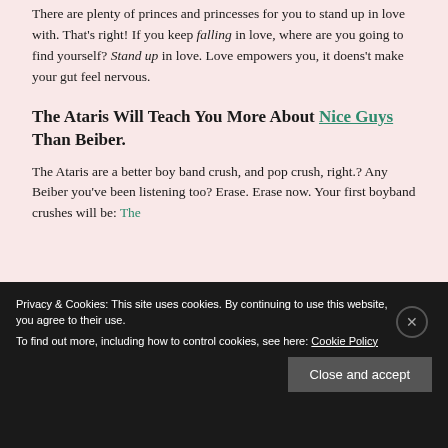There are plenty of princes and princesses for you to stand up in love with. That's right! If you keep falling in love, where are you going to find yourself? Stand up in love. Love empowers you, it doens't make your gut feel nervous.
The Ataris Will Teach You More About Nice Guys Than Beiber.
The Ataris are a better boy band crush, and pop crush, right.? Any Beiber you've been listening too? Erase. Erase now. Your first boyband crushes will be: The
Privacy & Cookies: This site uses cookies. By continuing to use this website, you agree to their use.
To find out more, including how to control cookies, see here: Cookie Policy